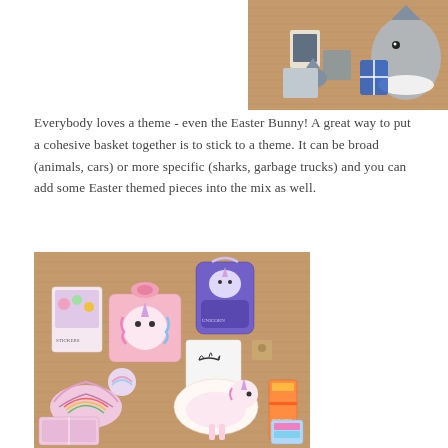[Figure (photo): Flat lay of shark-themed Easter basket items on a burlap/woven background: shark stuffed animal, shark-themed socks, small figurines, and packaged items.]
Everybody loves a theme - even the Easter Bunny!  A great way to put a cohesive basket together is to stick to a theme.  It can be broad (animals, cars) or more specific (sharks, garbage trucks) and you can add some Easter themed pieces into the mix as well.
[Figure (photo): Flat lay of unicorn-themed Easter basket items on a burlap/woven background: unicorn lunch bag, unicorn backpack/pouch, stickers, unicorn coin purse, craft kit, and other unicorn-themed items.]